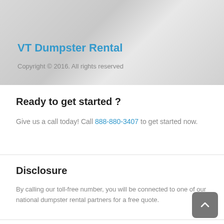[Figure (photo): Banner with light grey background and faint dumpster/background imagery]
VT Dumpster Rental
Copyright © 2016. All rights reserved
Ready to get started ?
Give us a call today! Call 888-880-3407 to get started now.
Disclosure
By calling our toll-free number, you will be connected to one of our national dumpster rental partners for a free quote.
Resources